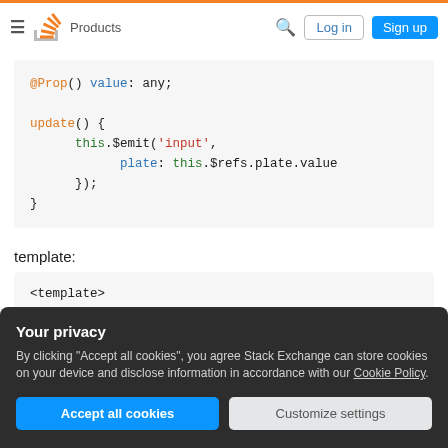Stack Exchange navigation bar with hamburger menu, logo, Products, search icon, Log in button, Sign up button
[Figure (screenshot): Code block showing @Prop() value: any; and update() method with this.$emit('input', plate: this.$refs.plate.value });]
template:
[Figure (screenshot): Code block showing <template> (partial, clipped by privacy overlay)]
Your privacy
By clicking "Accept all cookies", you agree Stack Exchange can store cookies on your device and disclose information in accordance with our Cookie Policy.
Accept all cookies   Customize settings